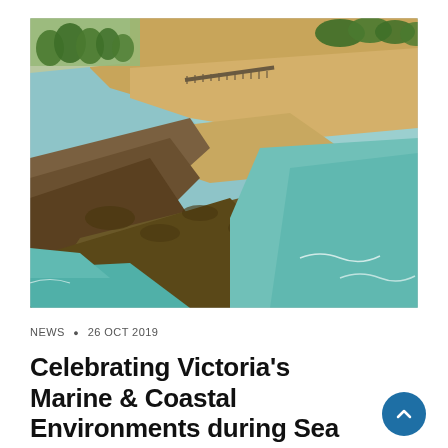[Figure (photo): Aerial photograph of Victoria's coastal marine environment, showing sandy beaches, rocky outcrops, a pier extending into the water, turquoise sea, and a coastal town with green vegetation in the background.]
NEWS • 26 OCT 2019
Celebrating Victoria's Marine & Coastal Environments during Sea Week: 13 Themes in 13 Weeks Series